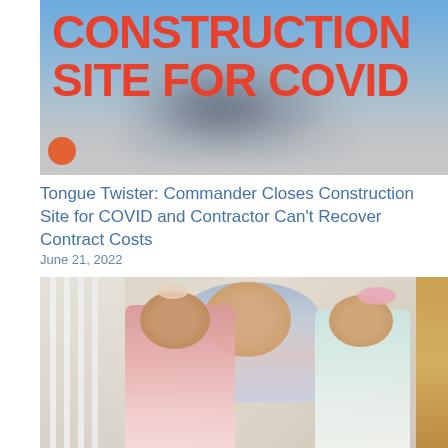[Figure (photo): Article thumbnail image with bold red text overlay reading 'CONSTRUCTION SITE FOR COVID' on a blue background with a blurred person figure]
Tongue Twister: Commander Closes Construction Site for COVID and Contractor Can't Recover Contract Costs
June 21, 2022
[Figure (photo): Photo of a smiling man with two young girls (toddlers) sitting on a staircase. The girls are wearing bows in their hair. Left girl wears pink lace outfit, right girl wears mint/white outfit with a pink bow headband.]